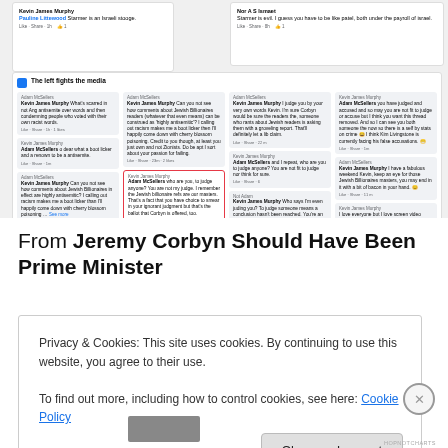[Figure (screenshot): Screenshots of Facebook comments. Top left panel: Kevin James Murphy / Pauline Littewood 'Starmer is an Israeli stooge.' Like · Share · 1h. Top right panel: Nor A S Ismaet 'Starmer is evil. I guess you have to be like patel, both under the payroll of israel.' Like · Share · 8h. Large group panel titled 'The left fights the media' containing multiple Facebook comment threads between Adam McSellers and Kevin James Murphy, including one highlighted in red border: Kevin James Murphy 'Adam McSellers who are you, to judge anyone? You are not my judge. I remember the Jewish billionaire refs are are our masters. That's a fact that you have choice to smear in your ignorant judgment but that's the ballot that Corbyn is offered, too.']
From Jeremy Corbyn Should Have Been Prime Minister
Privacy & Cookies: This site uses cookies. By continuing to use this website, you agree to their use.
To find out more, including how to control cookies, see here: Cookie Policy
Close and accept